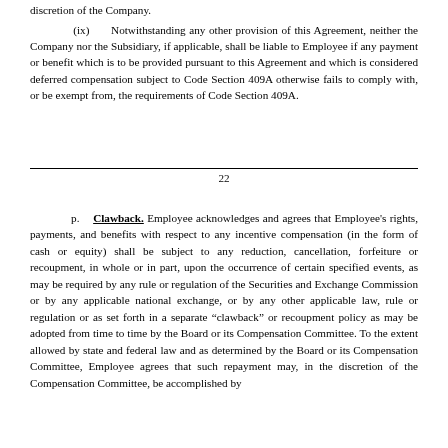discretion of the Company.
(ix)    Notwithstanding any other provision of this Agreement, neither the Company nor the Subsidiary, if applicable, shall be liable to Employee if any payment or benefit which is to be provided pursuant to this Agreement and which is considered deferred compensation subject to Code Section 409A otherwise fails to comply with, or be exempt from, the requirements of Code Section 409A.
22
p.    Clawback. Employee acknowledges and agrees that Employee's rights, payments, and benefits with respect to any incentive compensation (in the form of cash or equity) shall be subject to any reduction, cancellation, forfeiture or recoupment, in whole or in part, upon the occurrence of certain specified events, as may be required by any rule or regulation of the Securities and Exchange Commission or by any applicable national exchange, or by any other applicable law, rule or regulation or as set forth in a separate “clawback” or recoupment policy as may be adopted from time to time by the Board or its Compensation Committee. To the extent allowed by state and federal law and as determined by the Board or its Compensation Committee, Employee agrees that such repayment may, in the discretion of the Compensation Committee, be accomplished by